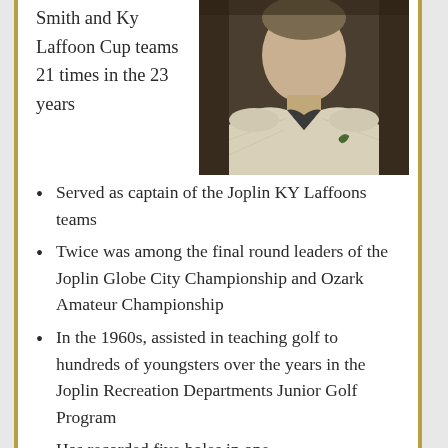Smith and Ky Laffoon Cup teams 21 times in the 23 years
[Figure (photo): Black and white or sepia-toned photograph of a man wearing a light-colored collared sweater with a small logo, against a dark background.]
Served as captain of the Joplin KY Laffoons teams
Twice was among the final round leaders of the Joplin Globe City Championship and Ozark Amateur Championship
In the 1960s, assisted in teaching golf to hundreds of youngsters over the years in the Joplin Recreation Departments Junior Golf Program
Has recorded five holes in one